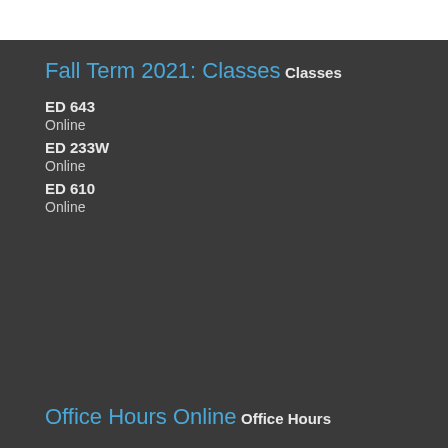Fall Term 2021: Classes
Classes
ED 643
Online
ED 233W
Online
ED 610
Online
Office Hours Online
Office Hours